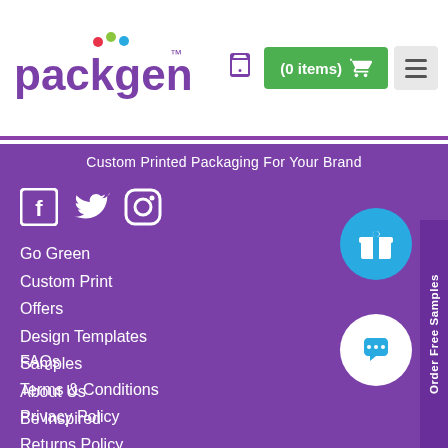[Figure (logo): PackGenie logo with colorful dots above the letter g]
(0 items)
Custom Printed Packaging For Your Brand
[Figure (illustration): Social media icons: Facebook, Twitter, Instagram]
Go Green
Custom Print
Offers
Design Templates
Samples
About Us
Be Inspired
FAQs
Terms & Conditions
Privacy Policy
Returns Policy
Delivery Policy
Order Free Samples